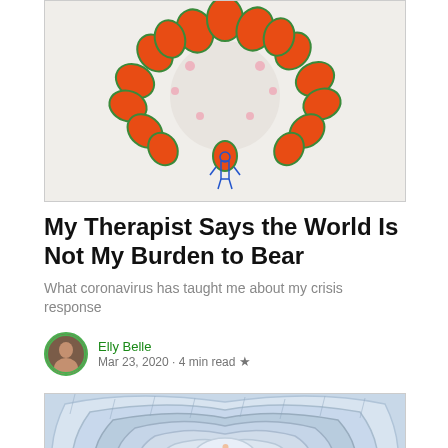[Figure (illustration): Colorful illustration of a coronavirus particle shaped like a heart/cluster, with orange teardrop shapes outlined in green on a light background, and a small blue figure at the bottom]
My Therapist Says the World Is Not My Burden to Bear
What coronavirus has taught me about my crisis response
Elly Belle
Mar 23, 2020 · 4 min read ★
[Figure (illustration): Top-down view of concentric cloud/wave shapes in light blue and white, with rain streaks and a small figure in the center, creating a maze-like spiral pattern]